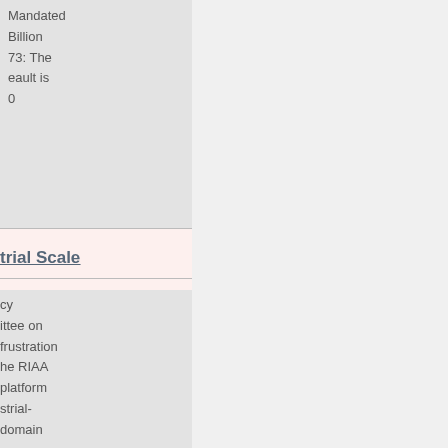Mandated Billion 73: The eault is 0
trial Scale
cy ittee on frustration he RIAA platform strial- domain
Tracks in Charts
music n 800